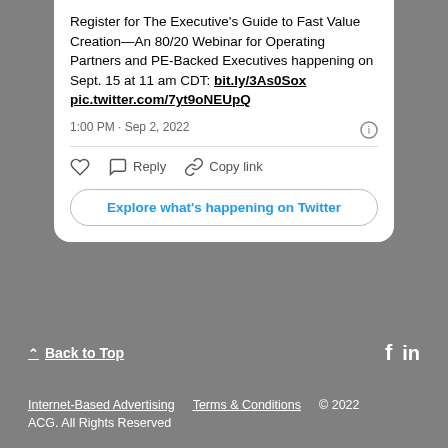Register for The Executive's Guide to Fast Value Creation—An 80/20 Webinar for Operating Partners and PE-Backed Executives happening on Sept. 15 at 11 am CDT: bit.ly/3As0Sox pic.twitter.com/7yt9oNEUpQ
1:00 PM · Sep 2, 2022
[Figure (screenshot): Twitter tweet card UI showing like, reply, copy link actions and Explore what's happening on Twitter button]
Back to Top
Internet-Based Advertising   Terms & Conditions   © 2022 ACG. All Rights Reserved